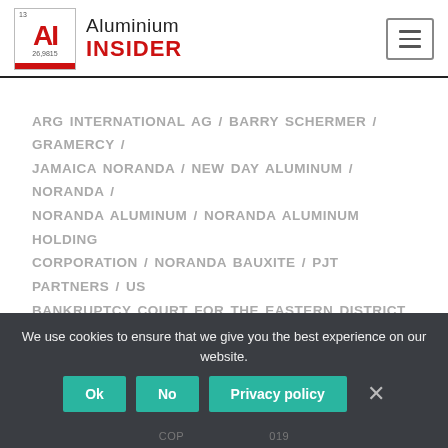Aluminium Insider
ARG INTERNATIONAL AG / BARRY SCHERMER / GRAMERCY / JAMAICA NORANDA / NEW DAY ALUMINUM / NORANDA / NORANDA ALUMINUM / NORANDA ALUMINUM HOLDING CORPORATION / NORANDA BAUXITE / PJT PARTNERS / US BANKRUPTCY COURT FOR THE EASTERN DISTRICT OF MISSOURI IN ST. LOUIS
Show comments
We use cookies to ensure that we give you the best experience on our website. Ok No Privacy policy